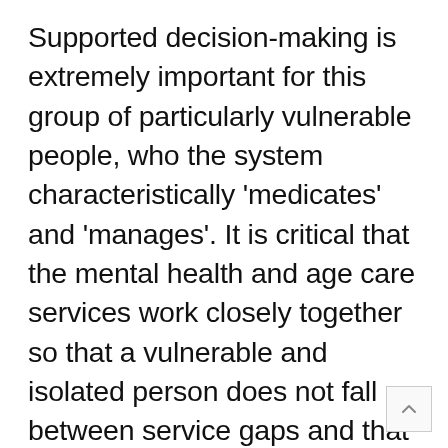Supported decision-making is extremely important for this group of particularly vulnerable people, who the system characteristically 'medicates' and 'manages'. It is critical that the mental health and age care services work closely together so that a vulnerable and isolated person does not fall between service gaps and that older people are appropriately cared for in mental health and age care facilities using principles of recovery and enablement.[43]